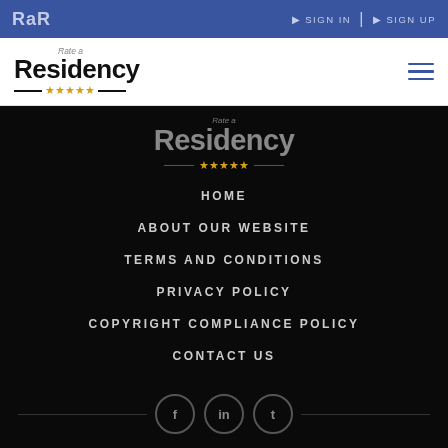RaR | SIGN IN | SIGN UP
[Figure (logo): Rate a Residency logo with star rating in white header bar]
[Figure (logo): Rate a Residency logo (dark version) on black background]
HOME
ABOUT OUR WEBSITE
TERMS AND CONDITIONS
PRIVACY POLICY
COPYRIGHT COMPLIANCE POLICY
CONTACT US